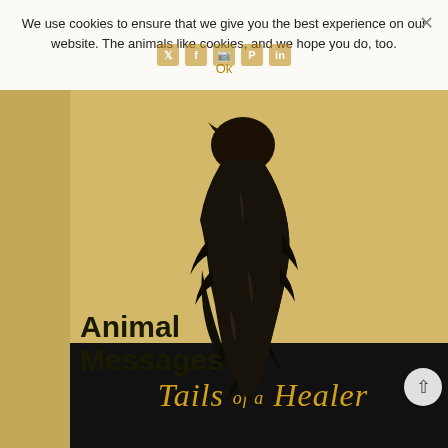We use cookies to ensure that we give you the best experience on our website. The animals like cookies, and we hope you do, too.
Ok
[Figure (illustration): Black painterly illustration of a raven/crow perched, on a golden-yellow background]
Animal Messages
[Figure (photo): Book cover image showing 'Tails of a Healer' text in golden italic lettering on a dark background]